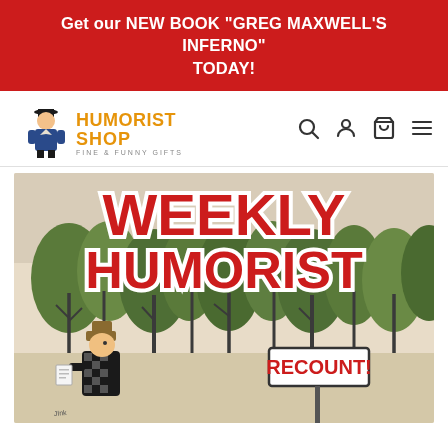Get our NEW BOOK "GREG MAXWELL'S INFERNO" TODAY!
[Figure (logo): Humorist Shop logo with cartoon man figure and orange stylized text. Tagline: Fine & Funny Gifts]
[Figure (illustration): Weekly Humorist magazine cover illustration showing bold red and white text 'WEEKLY HUMORIST' at top, green trees in background, a cartoon figure holding something, and a sign reading 'RECOUNT!' on a tan/beige background.]